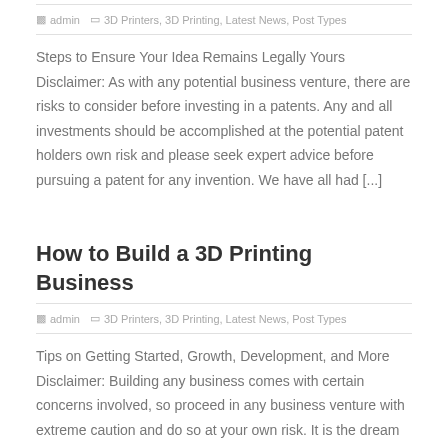admin   3D Printers, 3D Printing, Latest News, Post Types
Steps to Ensure Your Idea Remains Legally Yours Disclaimer: As with any potential business venture, there are risks to consider before investing in a patents. Any and all investments should be accomplished at the potential patent holders own risk and please seek expert advice before pursuing a patent for any invention. We have all had [...]
How to Build a 3D Printing Business
admin   3D Printers, 3D Printing, Latest News, Post Types
Tips on Getting Started, Growth, Development, and More Disclaimer: Building any business comes with certain concerns involved, so proceed in any business venture with extreme caution and do so at your own risk. It is the dream of many to reach for the stars and strike out on their own. The entrepreneurial spirit is alive [...]